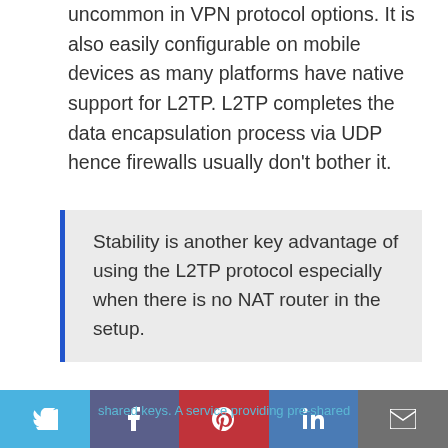uncommon in VPN protocol options. It is also easily configurable on mobile devices as many platforms have native support for L2TP. L2TP completes the data encapsulation process via UDP hence firewalls usually don't bother it.
Stability is another key advantage of using the L2TP protocol especially when there is no NAT router in the setup.
The main disadvantage of using the L2TP protocol is eavesdropping since it uses pre-shared keys. A service providing pre-shared keys...